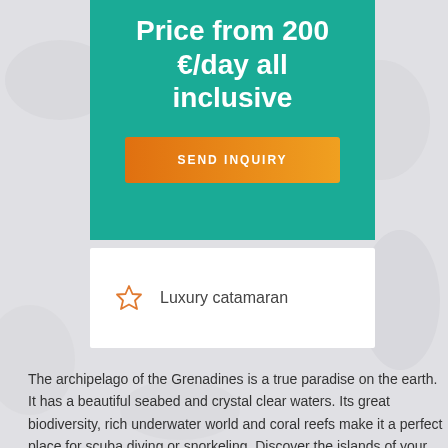Price from 200 €/day all inclusive
SEND INQUIRY
Luxury catamaran
The archipelago of the Grenadines is a true paradise on the earth. It has a beautiful seabed and crystal clear waters. Its great biodiversity, rich underwater world and coral reefs make it a perfect place for scuba diving or snorkeling. Discover the islands of your choice and their amazing landscape, try different activities (kayaking, kite surfing, snorkeling, scuba diving, fishing...) or just relax and enjoy sea, sun and tranquillity!